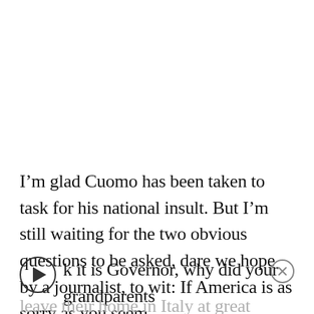I’m glad Cuomo has been taken to task for his national insult. But I’m still waiting for the two obvious questions to be asked, dare we hope by a journalist, to wit: If America is as sorry as you seem to think it is Governor, why did your grandparents leave their home in Italy at great effort, expense, and risk to come here? And if you didn’t...